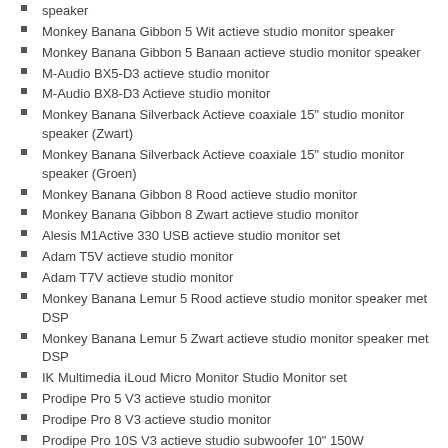speaker
Monkey Banana Gibbon 5 Wit actieve studio monitor speaker
Monkey Banana Gibbon 5 Banaan actieve studio monitor speaker
M-Audio BX5-D3 actieve studio monitor
M-Audio BX8-D3 Actieve studio monitor
Monkey Banana Silverback Actieve coaxiale 15" studio monitor speaker (Zwart)
Monkey Banana Silverback Actieve coaxiale 15" studio monitor speaker (Groen)
Monkey Banana Gibbon 8 Rood actieve studio monitor
Monkey Banana Gibbon 8 Zwart actieve studio monitor
Alesis M1Active 330 USB actieve studio monitor set
Adam T5V actieve studio monitor
Adam T7V actieve studio monitor
Monkey Banana Lemur 5 Rood actieve studio monitor speaker met DSP
Monkey Banana Lemur 5 Zwart actieve studio monitor speaker met DSP
IK Multimedia iLoud Micro Monitor Studio Monitor set
Prodipe Pro 5 V3 actieve studio monitor
Prodipe Pro 8 V3 actieve studio monitor
Prodipe Pro 10S V3 actieve studio subwoofer 10" 150W
HEDD Type 05 actieve monitor speaker
HEDD Type 07 actieve monitor speaker
KRK Rokit RP5 G4 actieve studio monitor
KRK Rokit RP7 G4 actieve studio monitor
Kali Audio LP8 actieve studio monitor
KRK Rokit RP8 G4 actieve studio monitor